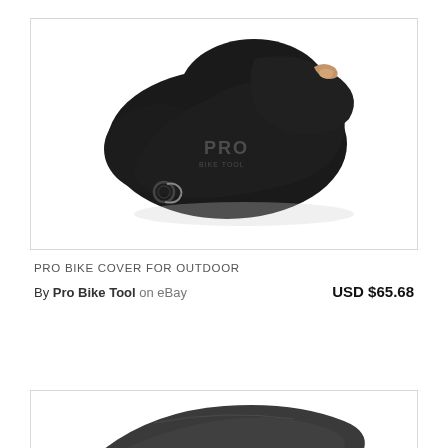[Figure (photo): Black PRO bike cover for outdoor use, folded/displayed on white background. The cover has a PRO logo on the side and a metal ring/lock attachment at the bottom front.]
PRO BIKE COVER FOR OUTDOOR
By Pro Bike Tool on eBay   USD $65.68
[Figure (photo): Partial view of a second bike cover product, dark gray/charcoal colored, shown at the bottom of the page cut off.]